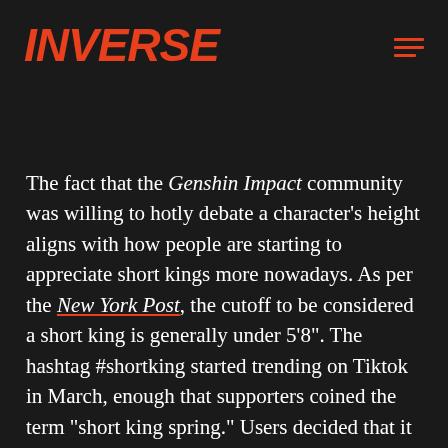INVERSE
The fact that the Genshin Impact community was willing to hotly debate a character's height aligns with how people are starting to appreciate short kings more nowadays. As per the New York Post, the cutoff to be considered a short king is generally under 5'8". The hashtag #shortking started trending on Tiktok in March, enough that supporters coined the term “short king spring.” Users decided that it was time to give shorter